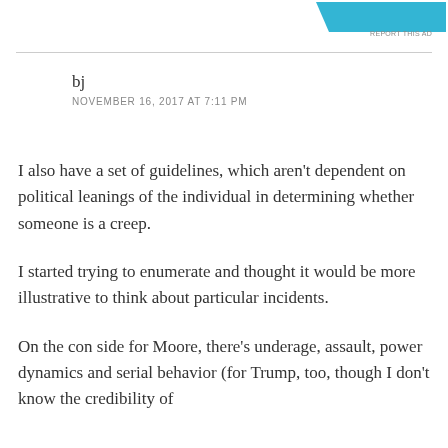[Figure (other): Blue diagonal banner in top right corner with 'REPORT THIS AD' label beneath it]
bj
NOVEMBER 16, 2017 AT 7:11 PM
I also have a set of guidelines, which aren't dependent on political leanings of the individual in determining whether someone is a creep.
I started trying to enumerate and thought it would be more illustrative to think about particular incidents.
On the con side for Moore, there's underage, assault, power dynamics and serial behavior (for Trump, too, though I don't know the credibility of